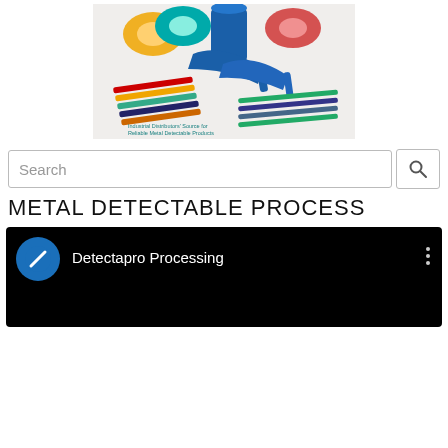[Figure (photo): Product photo showing metal detectable industrial items including colored tape rolls, blue scoops/spatulas, pens/markers, and cable ties arranged on a white background. Text overlay reads 'Industrial Distributors' Source for Reliable Metal Detectable Products']
Search
METAL DETECTABLE PROCESS
[Figure (screenshot): Dark/black video player thumbnail showing a circular blue channel icon with a white diagonal stripe and the text 'Detectapro Processing' next to it, with a three-dot menu icon on the right.]